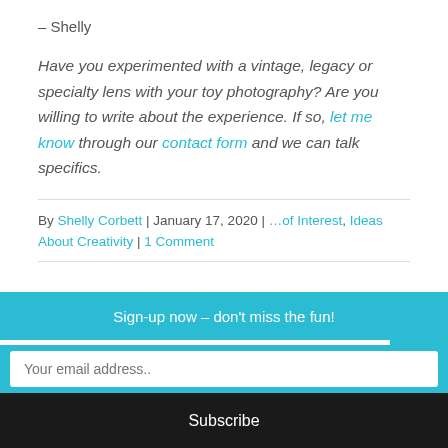– Shelly
Have you experimented with a vintage, legacy or specialty lens with your toy photography? Are you willing to write about the experience. If so, let me know through our contact form and we can talk specifics.
By Shelly Corbett | January 17, 2020 | …of Interest, Ideas About Creativity | 1 Comment
Sign-up now – don't miss the fun!
Your email address..
Subscribe